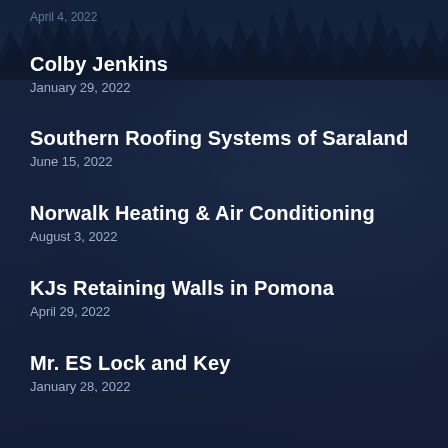April 4, 2022
Colby Jenkins
January 29, 2022
Southern Roofing Systems of Saraland
June 15, 2022
Norwalk Heating & Air Conditioning
August 3, 2022
KJs Retaining Walls in Pomona
April 29, 2022
Mr. ES Lock and Key
January 28, 2022